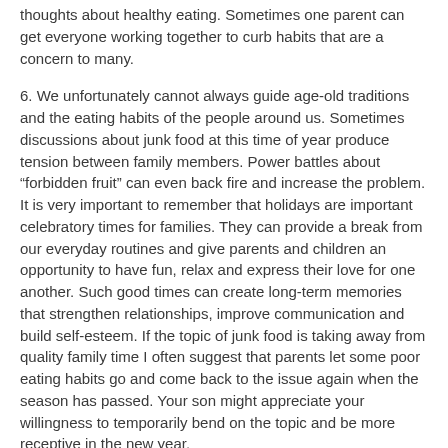thoughts about healthy eating. Sometimes one parent can get everyone working together to curb habits that are a concern to many.
6. We unfortunately cannot always guide age-old traditions and the eating habits of the people around us. Sometimes discussions about junk food at this time of year produce tension between family members. Power battles about “forbidden fruit” can even back fire and increase the problem. It is very important to remember that holidays are important celebratory times for families. They can provide a break from our everyday routines and give parents and children an opportunity to have fun, relax and express their love for one another. Such good times can create long-term memories that strengthen relationships, improve communication and build self-esteem. If the topic of junk food is taking away from quality family time I often suggest that parents let some poor eating habits go and come back to the issue again when the season has passed. Your son might appreciate your willingness to temporarily bend on the topic and be more receptive in the new year.
Thanks for asking about this all-important topic, happy holidays!
November 13, 2007